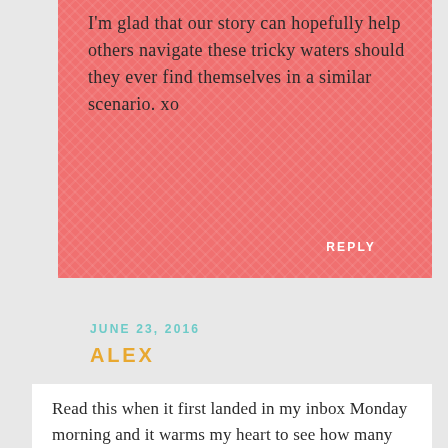I'm glad that our story can hopefully help others navigate these tricky waters should they ever find themselves in a similar scenario. xo
REPLY
JUNE 23, 2016
ALEX
Read this when it first landed in my inbox Monday morning and it warms my heart to see how many people have offered their virtual love and hugs in the days since. I'm adding mine!
I know that we are super aligned when it comes to family values and nothing scares me like the idea that I might be across the